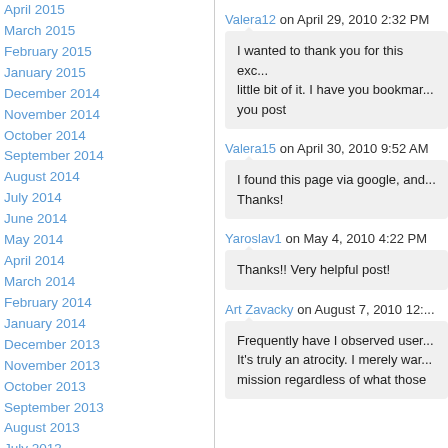April 2015
March 2015
February 2015
January 2015
December 2014
November 2014
October 2014
September 2014
August 2014
July 2014
June 2014
May 2014
April 2014
March 2014
February 2014
January 2014
December 2013
November 2013
October 2013
September 2013
August 2013
July 2013
June 2013
May 2013
April 2013
March 2013
Valera12 on April 29, 2010 2:32 PM
I wanted to thank you for this exc... little bit of it. I have you bookmar... you post
Valera15 on April 30, 2010 9:52 AM
I found this page via google, and... Thanks!
Yaroslav1 on May 4, 2010 4:22 PM
Thanks!! Very helpful post!
Art Zavacky on August 7, 2010 12:...
Frequently have I observed user... It's truly an atrocity. I merely war... mission regardless of what those